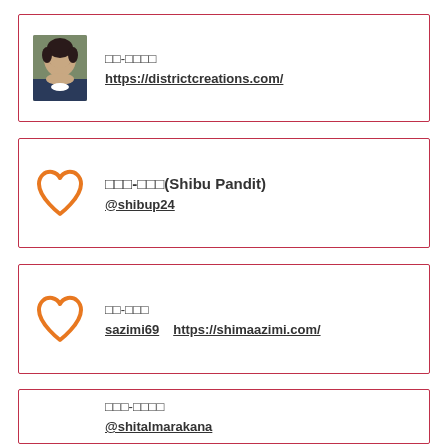[Figure (photo): Profile card 1 with a photo of a woman with dark hair wearing a dark jacket, with placeholder name characters and a URL]
□□-□□□□
https://districtcreations.com/
[Figure (illustration): Orange heart/love icon for profile card 2]
□□□-□□□(Shibu Pandit)
@shibup24
[Figure (illustration): Orange heart/love icon for profile card 3]
□□-□□□
sazimi69   https://shimaazimi.com/
□□□-□□□□
@shitalmarakana